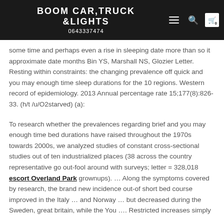BOOM CAR,TRUCK &LIGHTS
0643337474
some time and perhaps even a rise in sleeping date more than so it approximate date months Bin YS, Marshall NS, Glozier Letter. Resting within constraints: the changing prevalence off quick and you may enough time sleep durations for the 10 regions. Western record of epidemiology. 2013 Annual percentage rate 15;177(8):826-33. (h/t /u/O2starved) (a):
To research whether the prevalences regarding brief and you may enough time bed durations have raised throughout the 1970s towards 2000s, we analyzed studies of constant cross-sectional studies out of ten industrialized places (38 across the country representative go out-fool around with surveys; letter = 328,018 escort Overland Park grownups). … Along the symptoms covered by research, the brand new incidence out-of short bed course improved in the Italy … and Norway … but decreased during the Sweden, great britain, while the You …. Restricted increases simply